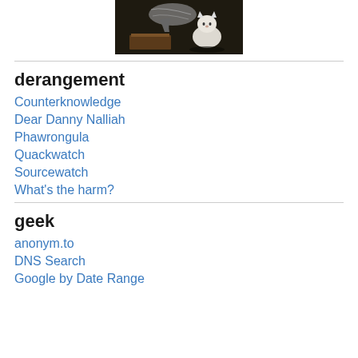[Figure (photo): Painting of a white dog (or cat) sitting next to a gramophone, resembling the HMV 'His Master's Voice' painting, dark background]
derangement
Counterknowledge
Dear Danny Nalliah
Phawrongula
Quackwatch
Sourcewatch
What's the harm?
geek
anonym.to
DNS Search
Google by Date Range